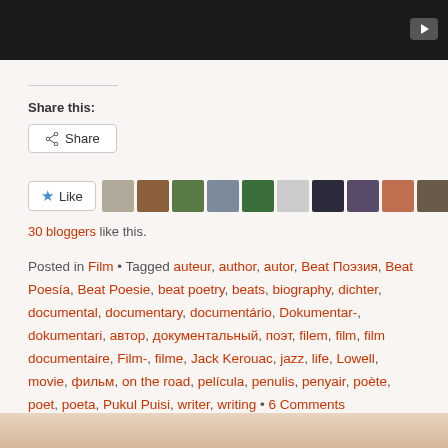[Figure (screenshot): Dark video thumbnail bar at top with play button icon on right]
Share this:
Share button
[Figure (screenshot): Like button with star icon followed by row of blogger avatar thumbnails]
30 bloggers like this.
Posted in Film • Tagged auteur, author, autor, Beat Поэзия, Beat Poesía, Beat Poesie, beat poetry, beats, biography, dichter, documental, documentary, documentário, Dokumentar-, dokumentari, автор, документальный, поэт, filem, film, film documentaire, Film-, filme, Jack Kerouac, jazz, life, Lowell, movie, фильм, on the road, película, penulis, penyair, poète, poet, poeta, Pukul Puisi, writer, writing • 6 Comments
[Figure (photo): Partial bottom image strip]